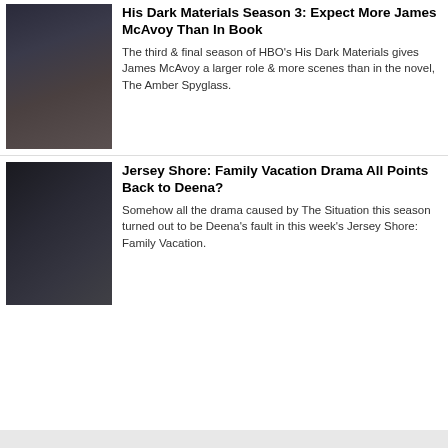[Figure (photo): James McAvoy in a dark scene from His Dark Materials]
His Dark Materials Season 3: Expect More James McAvoy Than In Book
The third & final season of HBO's His Dark Materials gives James McAvoy a larger role & more scenes than in the novel, The Amber Spyglass.
[Figure (photo): A scene from Jersey Shore: Family Vacation showing cast members]
Jersey Shore: Family Vacation Drama All Points Back to Deena?
Somehow all the drama caused by The Situation this season turned out to be Deena's fault in this week's Jersey Shore: Family Vacation.